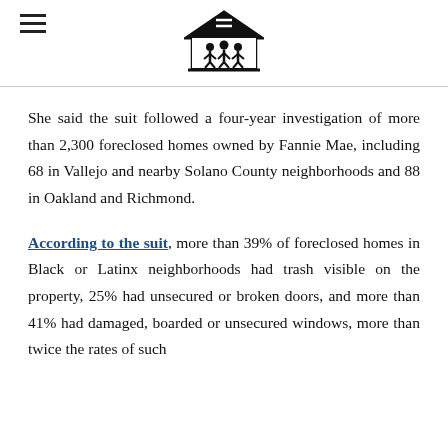[Logo: National Fair Housing Alliance]
She said the suit followed a four-year investigation of more than 2,300 foreclosed homes owned by Fannie Mae, including 68 in Vallejo and nearby Solano County neighborhoods and 88 in Oakland and Richmond.
According to the suit, more than 39% of foreclosed homes in Black or Latinx neighborhoods had trash visible on the property, 25% had unsecured or broken doors, and more than 41% had damaged, boarded or unsecured windows, more than twice the rates of such